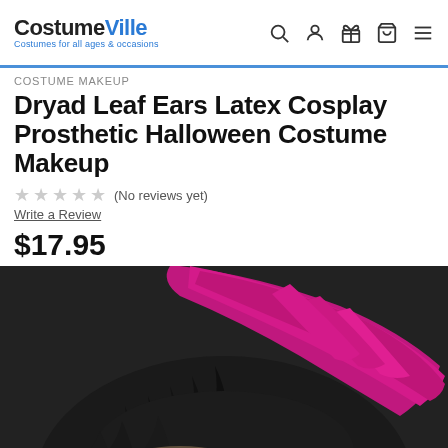CostumeVille — Costumes for all ages & occasions
COSTUME MAKEUP
Dryad Leaf Ears Latex Cosplay Prosthetic Halloween Costume Makeup
★★★★★ (No reviews yet)
Write a Review
$17.95
[Figure (photo): Close-up back view of a person's head with two-toned hair — dark/black underneath and vivid magenta/pink on top, styled in a swept-back fashion, presumably showing a dryad leaf ear prosthetic costume makeup product.]